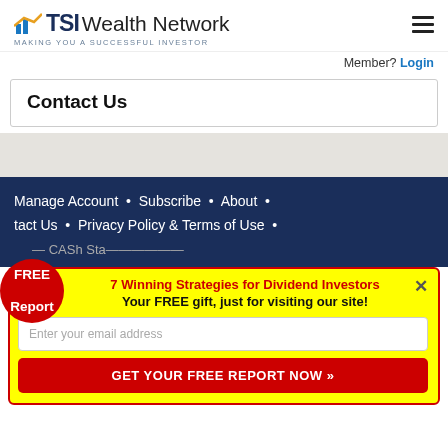TSI Wealth Network – Making You a Successful Investor
Member? Login
Contact Us
Manage Account • Subscribe • About • Contact Us • Privacy Policy & Terms of Use •
FREE Report – 7 Winning Strategies for Dividend Investors. Your FREE gift, just for visiting our site! Enter your email address. GET YOUR FREE REPORT NOW »